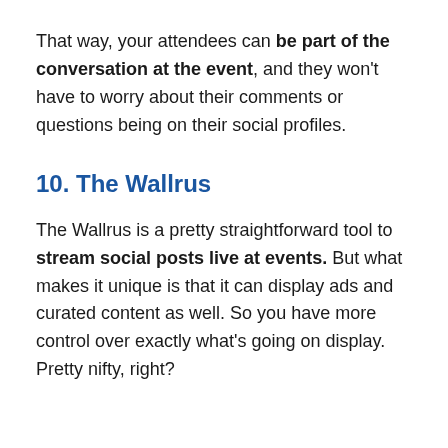That way, your attendees can be part of the conversation at the event, and they won't have to worry about their comments or questions being on their social profiles.
10. The Wallrus
The Wallrus is a pretty straightforward tool to stream social posts live at events. But what makes it unique is that it can display ads and curated content as well. So you have more control over exactly what's going on display. Pretty nifty, right?